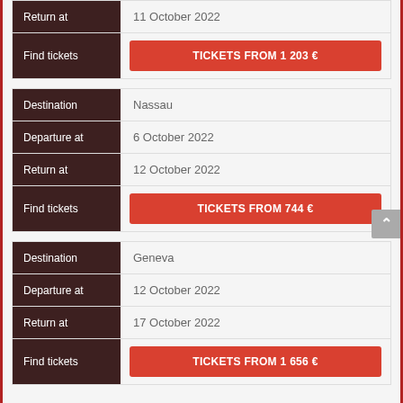| Field | Value |
| --- | --- |
| Return at | 11 October 2022 |
| Find tickets | TICKETS FROM 1 203 € |
| Field | Value |
| --- | --- |
| Destination | Nassau |
| Departure at | 6 October 2022 |
| Return at | 12 October 2022 |
| Find tickets | TICKETS FROM 744 € |
| Field | Value |
| --- | --- |
| Destination | Geneva |
| Departure at | 12 October 2022 |
| Return at | 17 October 2022 |
| Find tickets | TICKETS FROM 1 656 € |